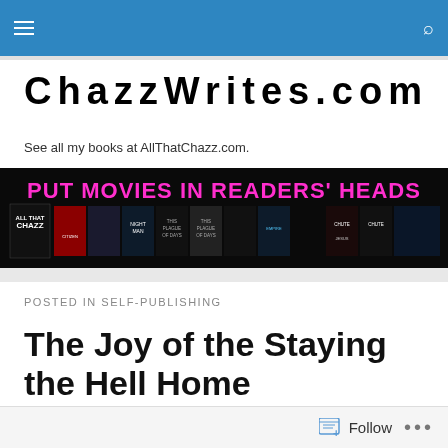ChazzWrites.com navigation bar
ChazzWrites.com
See all my books at AllThatChazz.com.
[Figure (illustration): Banner advertisement showing multiple book covers with text PUT MOVIES IN READERS' HEADS in pink and the AllThatChazz logo]
POSTED IN SELF-PUBLISHING
The Joy of the Staying the Hell Home